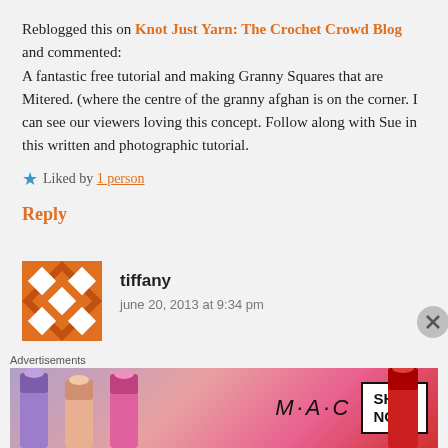Reblogged this on Knot Just Yarn: The Crochet Crowd Blog and commented: A fantastic free tutorial and making Granny Squares that are Mitered. (where the centre of the granny afghan is on the corner. I can see our viewers loving this concept. Follow along with Sue in this written and photographic tutorial.
★ Liked by 1 person
Reply
tiffany
june 20, 2013 at 9:34 pm
Advertisements
[Figure (advertisement): MAC cosmetics advertisement showing lipsticks with SHOP NOW button]